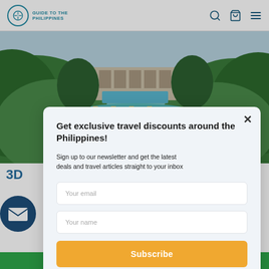GUIDE TO THE PHILIPPINES
[Figure (photo): Aerial view of a Philippine beach resort with turquoise water, white sand, and lush green trees]
Get exclusive travel discounts around the Philippines!
Sign up to our newsletter and get the latest deals and travel articles straight to your inbox